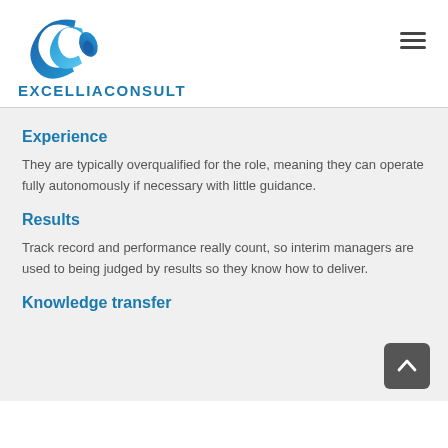[Figure (logo): ExcelliaConsult logo: stylized blue double-C swirl graphic above the text EXCELLIACONSULT in bold blue uppercase letters]
Experience
They are typically overqualified for the role, meaning they can operate fully autonomously if necessary with little guidance.
Results
Track record and performance really count, so interim managers are used to being judged by results so they know how to deliver.
Knowledge transfer